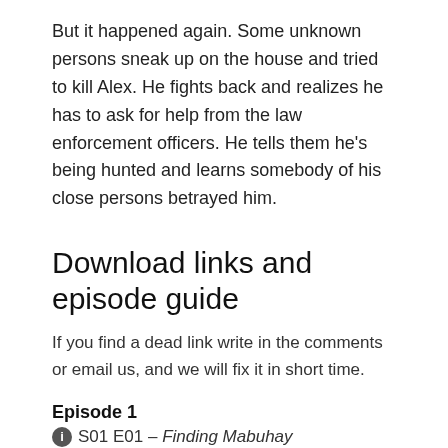But it happened again. Some unknown persons sneak up on the house and tried to kill Alex. He fights back and realizes he has to ask for help from the law enforcement officers. He tells them he's being hunted and learns somebody of his close persons betrayed him.
Download links and episode guide
If you find a dead link write in the comments or email us, and we will fix it in short time.
Episode 1
S01 E01 – Finding Mabuhay